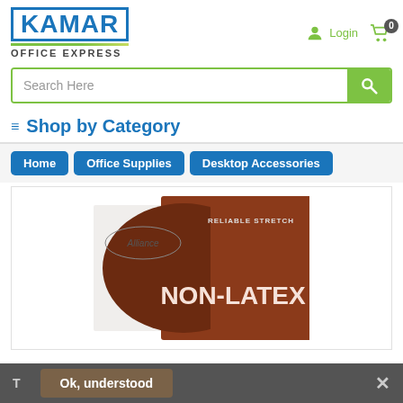[Figure (logo): Kamar Office Express logo - blue bold text KAMAR with green underline, OFFICE EXPRESS below]
Login
0
Search Here
≡ Shop by Category
Home
Office Supplies
Desktop Accessories
[Figure (photo): Product box image - Alliance brand Non-Latex rubber bands box, brown/orange color with text RELIABLE STRETCH and NON-LATEX]
T   Ok, understood   ✕